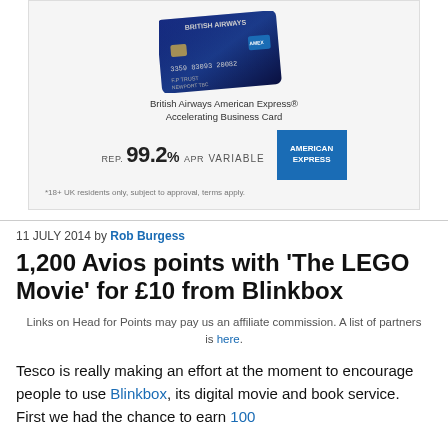[Figure (other): British Airways American Express Accelerating Business Card advertisement showing a dark blue credit card, REP. 99.2% APR VARIABLE, American Express logo, and disclaimer text.]
11 JULY 2014 by Rob Burgess
1,200 Avios points with ‘The LEGO Movie’ for £10 from Blinkbox
Links on Head for Points may pay us an affiliate commission. A list of partners is here.
Tesco is really making an effort at the moment to encourage people to use Blinkbox, its digital movie and book service.  First we had the chance to earn 100